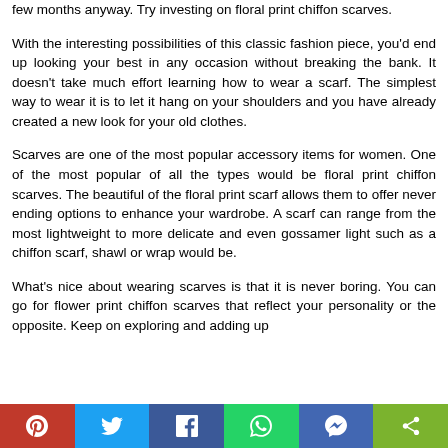few months anyway. Try investing on floral print chiffon scarves.
With the interesting possibilities of this classic fashion piece, you'd end up looking your best in any occasion without breaking the bank. It doesn't take much effort learning how to wear a scarf. The simplest way to wear it is to let it hang on your shoulders and you have already created a new look for your old clothes.
Scarves are one of the most popular accessory items for women. One of the most popular of all the types would be floral print chiffon scarves. The beautiful of the floral print scarf allows them to offer never ending options to enhance your wardrobe. A scarf can range from the most lightweight to more delicate and even gossamer light such as a chiffon scarf, shawl or wrap would be.
What's nice about wearing scarves is that it is never boring. You can go for flower print chiffon scarves that reflect your personality or the opposite. Keep on exploring and adding up